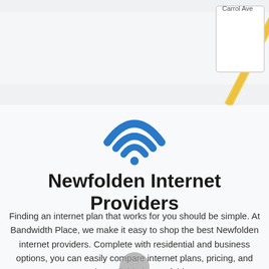[Figure (map): Street map snippet showing Carrol Ave and highway 59]
[Figure (illustration): Blue WiFi signal icon]
Newfolden Internet Providers
Finding an internet plan that works for you should be simple. At Bandwidth Place, we make it easy to shop the best Newfolden internet providers. Complete with residential and business options, you can easily compare internet plans, pricing, and speeds available in Newfolden.